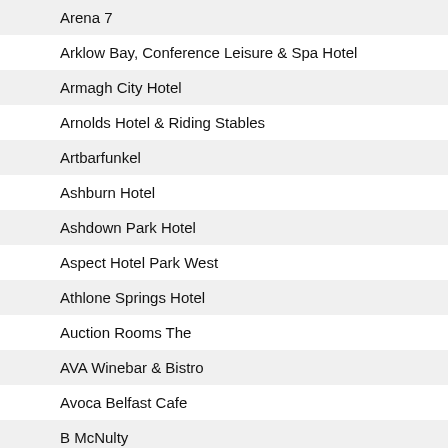| Name | Location |
| --- | --- |
| Arena 7 | LE |
| Arklow Bay, Conference Leisure & Spa Hotel | A |
| Armagh City Hotel | A |
| Arnolds Hotel & Riding Stables | D |
| Artbarfunkel | N |
| Ashburn Hotel | C |
| Ashdown Park Hotel | G |
| Aspect Hotel Park West | D |
| Athlone Springs Hotel | AT |
| Auction Rooms The | D |
| AVA Winebar & Bistro | B |
| Avoca Belfast Cafe | B |
| B McNulty | L |
| Bacon Bar & Grill | B |
| Badgers Bar & Restaurant | D |
| Badgers Place | D |
| Bagel Bagel | B |
| Balloo House | N |